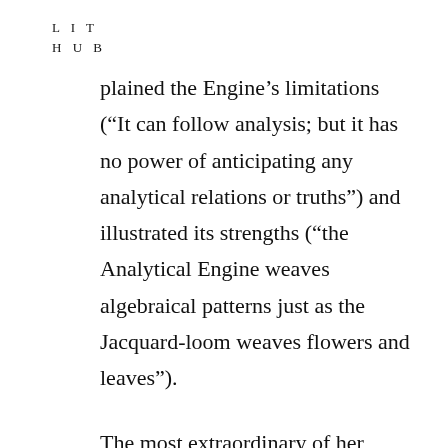L I T
H U B
plained the Engine’s limitations (“It can follow analysis; but it has no power of anticipating any analytical relations or truths”) and illustrated its strengths (“the Analytical Engine weaves algebraical patterns just as the Jacquard-loom weaves flowers and leaves”).
The most extraordinary of her annotations was Lovelace’s so-called Note G. In it, she explained how a punch-card-based algorithm could